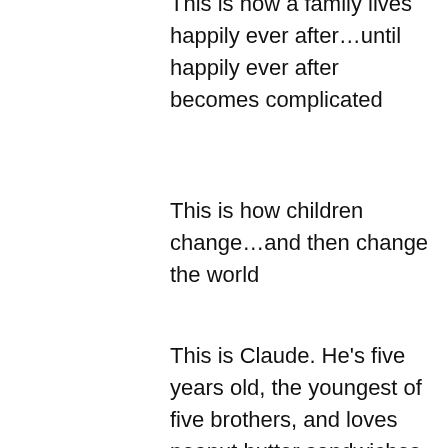This is how a family lives happily ever after…until happily ever after becomes complicated
This is how children change…and then change the world
This is Claude. He's five years old, the youngest of five brothers, and loves peanut butter sandwiches. He also loves wearing a dress, and dreams of being a princess
When he grows up, Claude says, he wants to be a girl.
Rosie and Penn want Claude to be whoever Claude wants to be. They're just